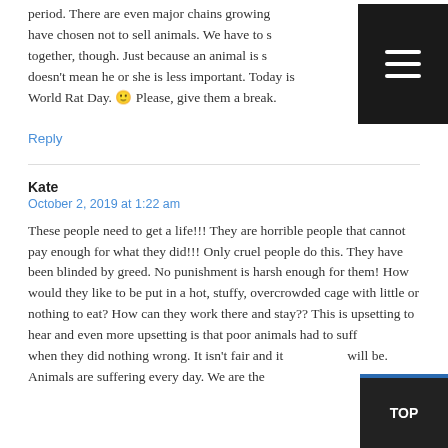period. There are even major chains growing that have chosen not to sell animals. We have to stand together, though. Just because an animal is small doesn't mean he or she is less important. Today is World Rat Day. 🙂 Please, give them a break.
Reply
Kate
October 2, 2019 at 1:22 am
These people need to get a life!!! They are horrible people that cannot pay enough for what they did!!! Only cruel people do this. They have been blinded by greed. No punishment is harsh enough for them! How would they like to be put in a hot, stuffy, overcrowded cage with little or nothing to eat? How can they work there and stay?? This is upsetting to hear and even more upsetting is that poor animals had to suffer when they did nothing wrong. It isn't fair and it never will be. Animals are suffering every day. We are the